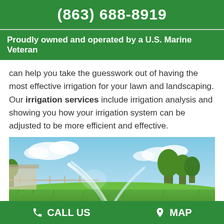(863) 688-8919
Proudly owned and operated by a U.S. Marine Veteran
can help you take the guesswork out of having the most effective irrigation for your lawn and landscaping. Our irrigation services include irrigation analysis and showing you how your irrigation system can be adjusted to be more efficient and effective.
[Figure (photo): A lawn sprinkler spraying water over green grass with trees and blue sky in the background]
CALL US   MAP